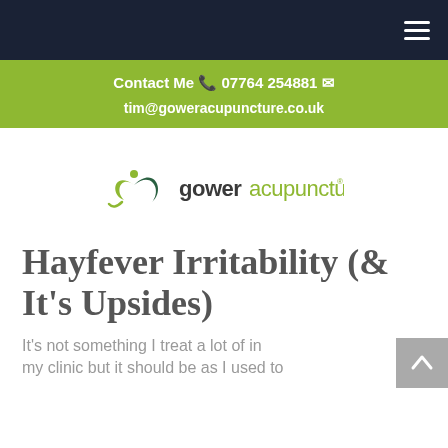Navigation bar with hamburger menu
Contact Me 07764 254881 tim@goweracupuncture.co.uk
[Figure (logo): Gower Acupuncture logo with stylized green leaf/person icon and text 'goweracupuncture']
Hayfever Irritability (& It's Upsides)
It's not something I treat a lot of in my clinic but it should be as I used to